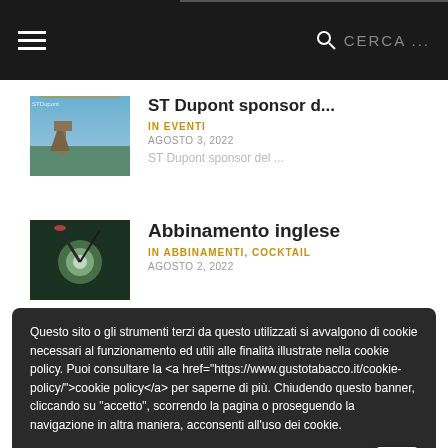≡  CERCA ...
ST Dupont sponsor d...
IN EVENTI
AGOSTO 3, 2022
ST Dupont sponsor del ...
Abbinamento inglese
IN ABBINAMENTI, COCKTAIL
AGOSTO 2, 2022
Giuseppe Stucchi Ci...
Romeo Y Julieta Lin...
IN NOVITÀ
Questo sito o gli strumenti terzi da questo utilizzati si avvalgono di cookie necessari al funzionamento ed utili alle finalità illustrate nella cookie policy. Puoi consultare la <a href="https://www.gustotabacco.it/cookie-policy/">cookie policy</a> per saperne di più. Chiudendo questo banner, cliccando su "accetto", scorrendo la pagina o proseguendo la navigazione in altra maniera, acconsenti all'uso dei cookie.
ACCETTO